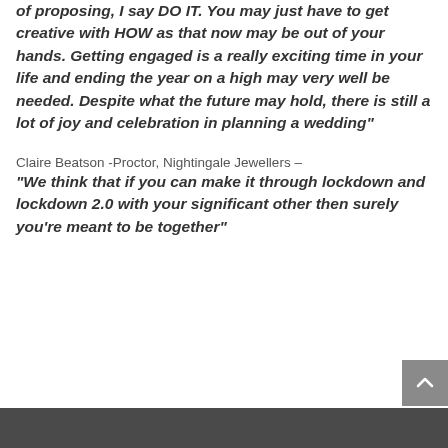of proposing, I say DO IT. You may just have to get creative with HOW as that now may be out of your hands. Getting engaged is a really exciting time in your life and ending the year on a high may very well be needed. Despite what the future may hold, there is still a lot of joy and celebration in planning a wedding"
Claire Beatson -Proctor, Nightingale Jewellers – "We think that if you can make it through lockdown and lockdown 2.0 with your significant other then surely you're meant to be together"